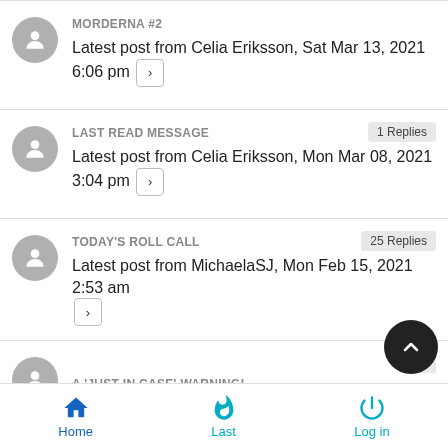MORDERNA #2 — Latest post from Celia Eriksson, Sat Mar 13, 2021 6:06 pm
LAST READ MESSAGE — 1 Replies — Latest post from Celia Eriksson, Mon Mar 08, 2021 3:04 pm
TODAY'S ROLL CALL — 25 Replies — Latest post from MichaelaSJ, Mon Feb 15, 2021 2:53 am
A 'JUST IN CASE' WARNING! — 7 Replies (partial)
Home   Last   Log in